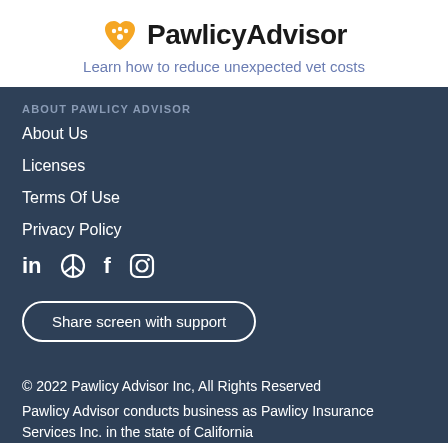[Figure (logo): PawlicyAdvisor logo with orange heart paw icon and bold text]
Learn how to reduce unexpected vet costs
ABOUT PAWLICY ADVISOR
About Us
Licenses
Terms Of Use
Privacy Policy
[Figure (infographic): Social media icons: LinkedIn, peace sign, Facebook, Instagram]
Share screen with support
© 2022 Pawlicy Advisor Inc, All Rights Reserved
Pawlicy Advisor conducts business as Pawlicy Insurance Services Inc. in the state of California